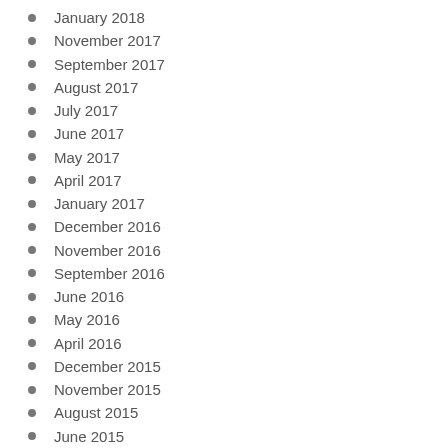January 2018
November 2017
September 2017
August 2017
July 2017
June 2017
May 2017
April 2017
January 2017
December 2016
November 2016
September 2016
June 2016
May 2016
April 2016
December 2015
November 2015
August 2015
June 2015
March 2015
January 2015